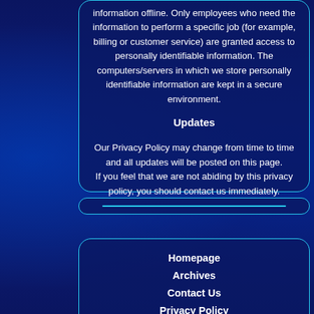information offline. Only employees who need the information to perform a specific job (for example, billing or customer service) are granted access to personally identifiable information. The computers/servers in which we store personally identifiable information are kept in a secure environment.
Updates
Our Privacy Policy may change from time to time and all updates will be posted on this page.
If you feel that we are not abiding by this privacy policy, you should contact us immediately.
[Figure (other): Search bar with cyan horizontal line inside a rounded dark blue bordered box]
Homepage
Archives
Contact Us
Privacy Policy
Service Agreement